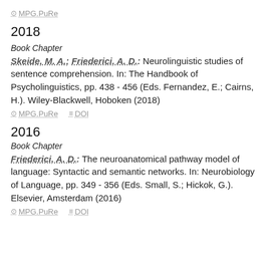MPG.PuRe
2018
Book Chapter
Skeide, M. A.; Friederici, A. D.: Neurolinguistic studies of sentence comprehension. In: The Handbook of Psycholinguistics, pp. 438 - 456 (Eds. Fernandez, E.; Cairns, H.). Wiley-Blackwell, Hoboken (2018)
MPG.PuRe   DOI
2016
Book Chapter
Friederici, A. D.: The neuroanatomical pathway model of language: Syntactic and semantic networks. In: Neurobiology of Language, pp. 349 - 356 (Eds. Small, S.; Hickok, G.). Elsevier, Amsterdam (2016)
MPG.PuRe   DOI